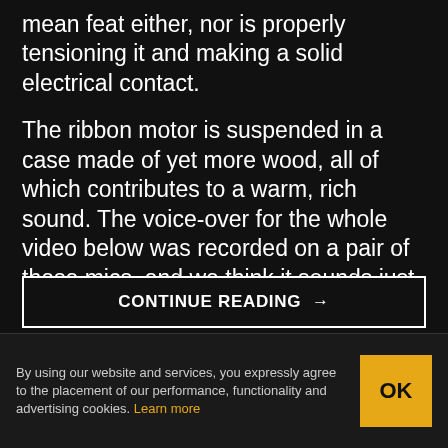mean feat either, nor is properly tensioning it and making a solid electrical contact.
The ribbon motor is suspended in a case made of yet more wood, all of which contributes to a warm, rich sound. The voice-over for the whole video below was recorded on a pair of these mics, and we think it sounds just as good as [Frank]'s earlier wooden Model 44 build. He says he has more designs in the works, and we're looking forward to hearing them, too.
CONTINUE READING →
By using our website and services, you expressly agree to the placement of our performance, functionality and advertising cookies. Learn more